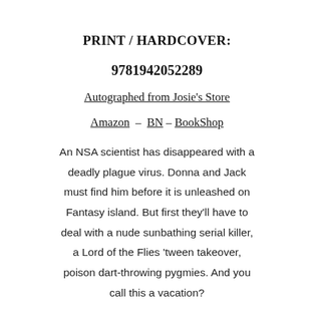PRINT / HARDCOVER:
9781942052289
Autographed from Josie's Store
Amazon  –  BN – BookShop
An NSA scientist has disappeared with a deadly plague virus. Donna and Jack must find him before it is unleashed on Fantasy island. But first they'll have to deal with a nude sunbathing serial killer, a Lord of the Flies ‘tween takeover, poison dart-throwing pygmies. And you call this a vacation?